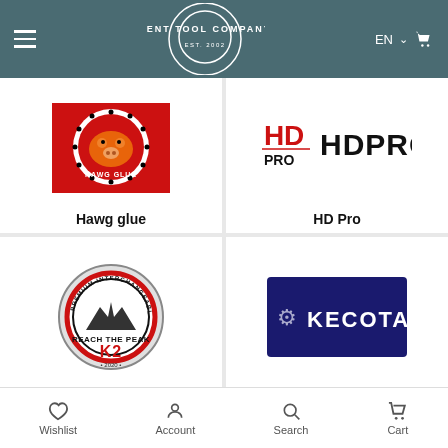Dent Tool Company — EST. 2002 — navigation header
[Figure (logo): Hawg Glue logo: cartoon hog on red background with stars]
Hawg glue
[Figure (logo): HD Pro logo: red and black HD PRO text logo]
HD Pro
[Figure (logo): K2 Reach The Peak logo: circular badge with mountain peaks, Premium Interchangeable Top, 2020]
[Figure (logo): Kecotabs logo: white text KECOTABS on dark blue background with gear icon]
Wishlist  Account  Search  Cart